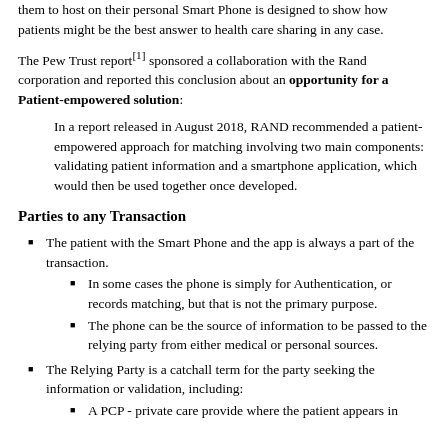them to host on their personal Smart Phone is designed to show how patients might be the best answer to health care sharing in any case.
The Pew Trust report[1] sponsored a collaboration with the Rand corporation and reported this conclusion about an opportunity for a Patient-empowered solution:
In a report released in August 2018, RAND recommended a patient-empowered approach for matching involving two main components: validating patient information and a smartphone application, which would then be used together once developed.
Parties to any Transaction
The patient with the Smart Phone and the app is always a part of the transaction.
In some cases the phone is simply for Authentication, or records matching, but that is not the primary purpose.
The phone can be the source of information to be passed to the relying party from either medical or personal sources.
The Relying Party is a catchall term for the party seeking the information or validation, including:
A PCP - private care provide where the patient appears in